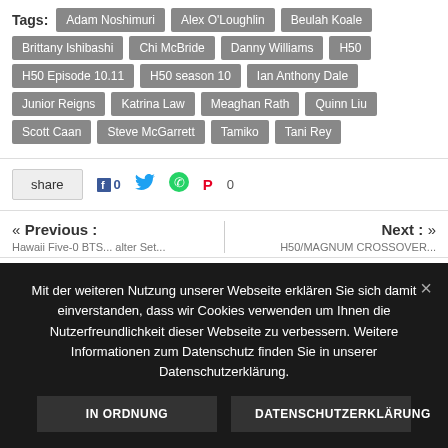Tags: Adam Noshimuri  Alex O'Loughlin  Beulah Koale  Brittany Ishibashi  Chi McBride  Danny Williams  H50  H50 Episode 10.11  H50 season 10  Ian Anthony Dale  Junior Reigns  Katrina Law  Meaghan Rath  Quinn Liu  Scott Caan  Steve McGarrett  Tamiko  Tani Rey
share  f 0  [Twitter]  [WhatsApp]  P 0
« Previous :  [Hawaii Five-0 BTS...]  Next : »  [H50/MAGNUM CROSSOVER...]
Mit der weiteren Nutzung unserer Webseite erklären Sie sich damit einverstanden, dass wir Cookies verwenden um Ihnen die Nutzerfreundlichkeit dieser Webseite zu verbessern. Weitere Informationen zum Datenschutz finden Sie in unserer Datenschutzerklärung.
IN ORDNUNG
DATENSCHUTZERKLÄRUNG